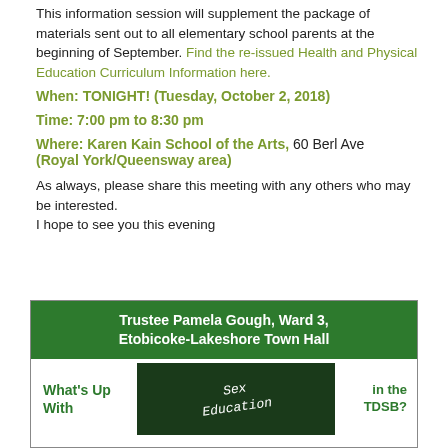This information session will supplement the package of materials sent out to all elementary school parents at the beginning of September. Find the re-issued Health and Physical Education Curriculum Information here.
When: TONIGHT! (Tuesday, October 2, 2018)
Time: 7:00 pm to 8:30 pm
Where: Karen Kain School of the Arts, 60 Berl Ave (Royal York/Queensway area)
As always, please share this meeting with any others who may be interested.
I hope to see you this evening
[Figure (infographic): Green banner for Trustee Pamela Gough, Ward 3, Etobicoke-Lakeshore Town Hall event. Bottom row shows 'What's Up With' in green text on left, a chalkboard image in center with 'Sex Education' written on it, and 'in the TDSB?' in green text on right.]